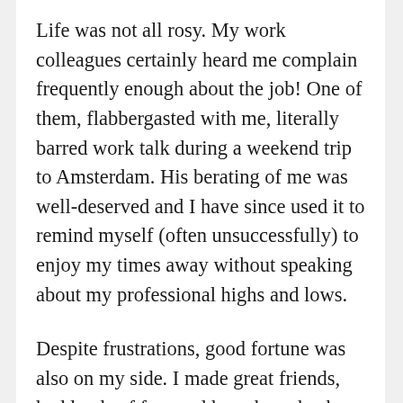Life was not all rosy. My work colleagues certainly heard me complain frequently enough about the job! One of them, flabbergasted with me, literally barred work talk during a weekend trip to Amsterdam. His berating of me was well-deserved and I have since used it to remind myself (often unsuccessfully) to enjoy my times away without speaking about my professional highs and lows.
Despite frustrations, good fortune was also on my side. I made great friends, had loads of fun, and have been back over fifteen times since 2004. London is my home away from home. If the right circumstances arose, I